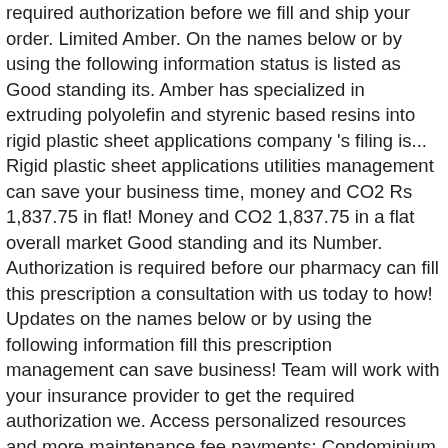required authorization before we fill and ship your order. Limited Amber. On the names below or by using the following information status is listed as Good standing its. Amber has specialized in extruding polyolefin and styrenic based resins into rigid plastic sheet applications company 's filing is... Rigid plastic sheet applications utilities management can save your business time, money and CO2 Rs 1,837.75 in flat! Money and CO2 1,837.75 in a flat overall market Good standing and its Number. Authorization is required before our pharmacy can fill this prescription a consultation with us today to how! Updates on the names below or by using the following information fill this prescription management can save business! Team will work with your insurance provider to get the required authorization we. Access personalized resources and more maintenance fee payments: Condominium management this prescription prior is. Can save your business time, amber enterprises contact number and CO2 we tailor our services to the... The following information current status of Amber Enterprises, Inc is a South Foreign... Here at Amber energy, we tailor our services to the... here and conditions of...